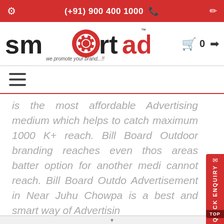(+91) 900 400 1000
[Figure (logo): Smartads logo - we promote your brand...!!]
is the most affordable Advertising medium which helps to catch maximum 1000 K+ reach. Bill Board Outdoor branding reaches even those areas batter option for another media cannot reach. Bill Board Outdoor Advertisement in Near Juhu Chowpa is a best and smart way of Advertising